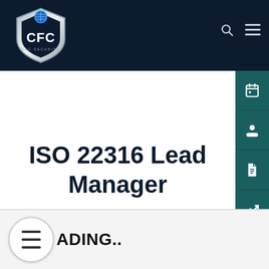[Figure (logo): CFC shield logo with globe on dark navy header bar, with search and hamburger icons top right]
ISO 22316 Lead Manager
[Figure (infographic): Right sidebar with 5 teal icon buttons: calendar, person/contact, document, chart/analytics, calculator]
LOADING..